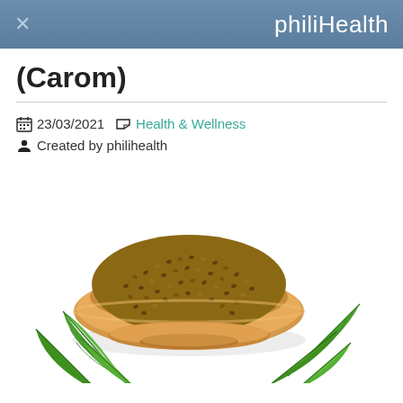philiHealth
(Carom)
23/03/2021 Health & Wellness Created by philihealth
[Figure (photo): A wooden bowl filled with carom (ajwain) seeds, surrounded by fresh green herb leaves on a white background]